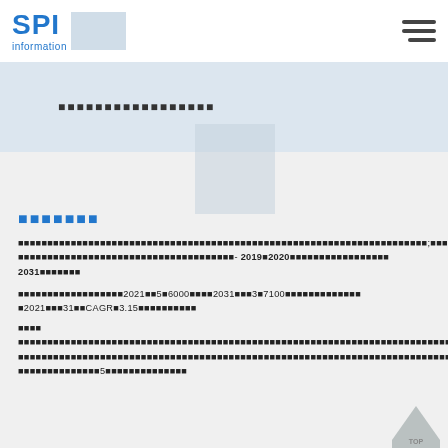SPI information
[redacted title text]
[redacted section header]
[redacted body text] - 2019/2020 [redacted] 2031 [redacted]
[redacted] 2021 [redacted] 5/6000 [redacted] 2031 [redacted] 3/7100 [redacted] 2021 [redacted] 31 [redacted] CAGR 3.15 [redacted]
[redacted sub-label]
[redacted body text] 5 [redacted]